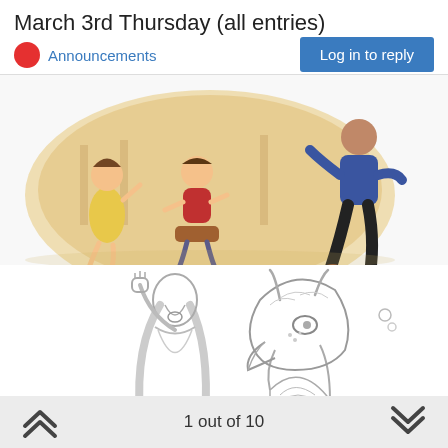March 3rd Thursday (all entries)
Announcements
Log in to reply
[Figure (illustration): Colorful illustrated scene showing children running, with a circular warm-toned background; one child in yellow dress, one in red shirt on a sled, and a figure in blue and black running at the right edge.]
[Figure (illustration): Pencil sketch illustration showing a girl with long hair raising her fist upward beside a large detailed eagle or griffin head looking up, with small objects floating nearby.]
1 out of 10